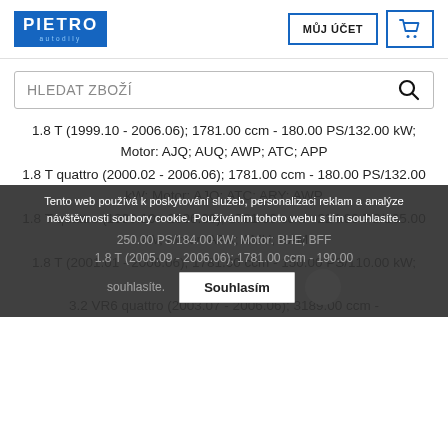[Figure (logo): Pietro autodily logo - blue rectangle with PIETRO text in white and 'autodily' below]
MŮJ ÚČET
[Shopping cart icon]
HLEDAT ZBOŽÍ
1.8 T (1999.10 - 2006.06); 1781.00 ccm - 180.00 PS/132.00 kW; Motor: AJQ; AUQ; AWP; ATC; APP
1.8 T quattro (2000.02 - 2006.06); 1781.00 ccm - 180.00 PS/132.00 kW; Motor: AJQ; ATC; ARY; AWP
1.8 T quattro (1999.10 - 2006.06); 1781.00 ccm - 224.00 PS/165.00 kW; Motor: APX; AMU; BAM
1.8 T (2001.01 - 2006.06); 1781.00 ccm - 150.00 PS/110.00 kW; Motor: AUM
3.2 VR6 quattro (2003.07 - 2006.06); 3189.00 ccm - 250.00 PS/184.00 kW; Motor: BHE; BFF
1.8 T (2005.09 - 2006.06); 1781.00 ccm - 190.00 PS/140.00 kW; Motor: [cut off]
Tento web používá k poskytování služeb, personalizaci reklam a analýze návštěvnosti soubory cookie. Používáním tohoto webu s tím souhlasíte.
Souhlasím